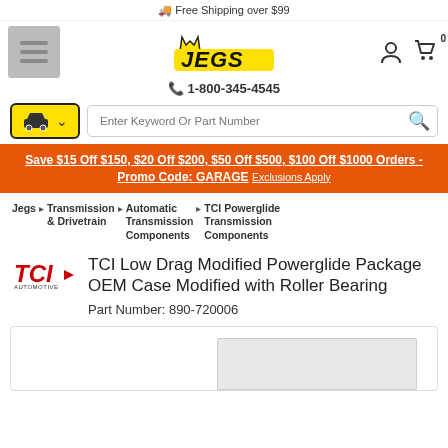🚚 Free Shipping over $99
[Figure (logo): JEGS automotive logo in yellow with black bold stylized lettering and crown symbol]
📞 1-800-345-4545
Save $15 Off $150, $20 Off $200, $50 Off $500, $100 Off $1000 Orders - Promo Code: GARAGE Exclusions Apply
Jegs > Transmission & Drivetrain > Automatic Transmission Components > TCI Powerglide Transmission Components
[Figure (logo): TCI Automotive brand logo in red and black]
TCI Low Drag Modified Powerglide Package OEM Case Modified with Roller Bearing
Part Number: 890-720006
[Figure (photo): Product image area showing bottom portion of product photo]